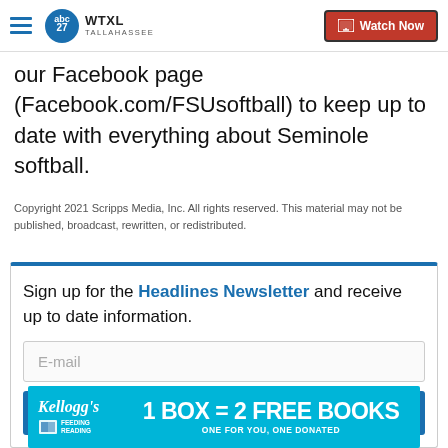WTXL Tallahassee — Watch Now
our Facebook page (Facebook.com/FSUsoftball) to keep up to date with everything about Seminole softball.
Copyright 2021 Scripps Media, Inc. All rights reserved. This material may not be published, broadcast, rewritten, or redistributed.
Sign up for the Headlines Newsletter and receive up to date information.
[Figure (screenshot): Email signup form with E-mail input field and Submit button]
[Figure (infographic): Kellogg's Feeding Reading ad banner: 1 BOX = 2 FREE BOOKS, ONE FOR YOU, ONE DONATED]